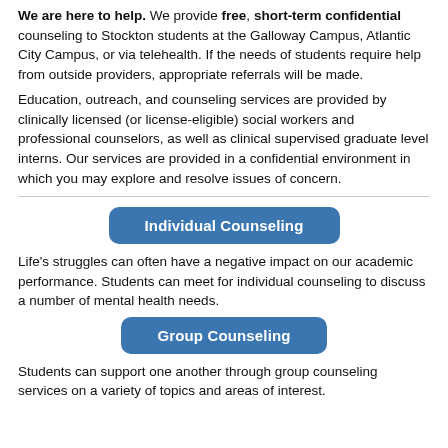We are here to help. We provide free, short-term confidential counseling to Stockton students at the Galloway Campus, Atlantic City Campus, or via telehealth. If the needs of students require help from outside providers, appropriate referrals will be made.
Education, outreach, and counseling services are provided by clinically licensed (or license-eligible) social workers and professional counselors, as well as clinical supervised graduate level interns. Our services are provided in a confidential environment in which you may explore and resolve issues of concern.
[Figure (other): Blue rounded button labeled 'Individual Counseling']
Life's struggles can often have a negative impact on our academic performance. Students can meet for individual counseling to discuss a number of mental health needs.
[Figure (other): Blue rounded button labeled 'Group Counseling']
Students can support one another through group counseling services on a variety of topics and areas of interest.